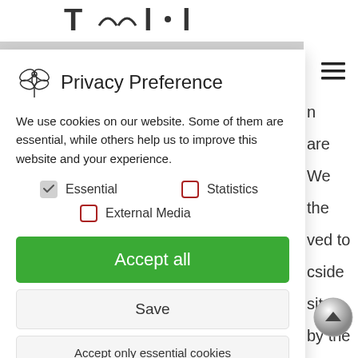[Figure (screenshot): Website background with partial header text and navigation]
Privacy Preference
We use cookies on our website. Some of them are essential, while others help us to improve this website and your experience.
Essential (checked)
Statistics (unchecked)
External Media (unchecked)
Accept all
Save
Accept only essential cookies
Individual Privacy Preferences
Cookie Details | Privacy Policy | Imprint